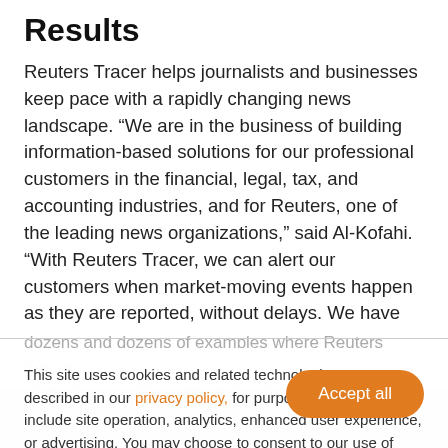Results
Reuters Tracer helps journalists and businesses keep pace with a rapidly changing news landscape. “We are in the business of building information-based solutions for our professional customers in the financial, legal, tax, and accounting industries, and for Reuters, one of the leading news organizations,” said Al-Kofahi. “With Reuters Tracer, we can alert our customers when market-moving events happen as they are reported, without delays. We have
dozens and dozens of examples where Reuters Tracer alerted news editors about developing stories. journalists discover value when they can focus on stories, rather than as opposed to disreporting on events.
This site uses cookies and related technologies, as described in our privacy policy, for purposes that may include site operation, analytics, enhanced user experience, or advertising. You may choose to consent to our use of these technologies, or manage your own preferences.